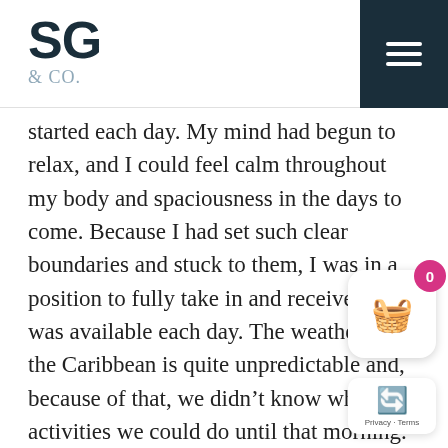SG & CO.
started each day. My mind had begun to relax, and I could feel calm throughout my body and spaciousness in the days to come. Because I had set such clear boundaries and stuck to them, I was in a position to fully take in and receive what was available each day. The weather in the Caribbean is quite unpredictable and, because of that, we didn't know what activities we could do until that morning.  There was a sense of mystery and unknown about each day, but my relationship to uncertainty was shifting.  Instead of feeling anxious, worn out, and worried, I was feeling curious, excited, and